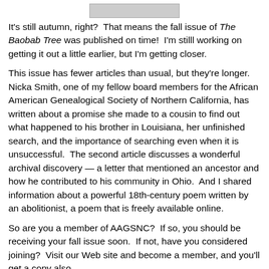[Figure (photo): Small image/thumbnail at top center of page]
It's still autumn, right?  That means the fall issue of The Baobab Tree was published on time!  I'm stilll working on getting it out a little earlier, but I'm getting closer.
This issue has fewer articles than usual, but they're longer.  Nicka Smith, one of my fellow board members for the African American Genealogical Society of Northern California, has written about a promise she made to a cousin to find out what happened to his brother in Louisiana, her unfinished search, and the importance of searching even when it is unsuccessful.  The second article discusses a wonderful archival discovery — a letter that mentioned an ancestor and how he contributed to his community in Ohio.  And I shared information about a powerful 18th-century poem written by an abolitionist, a poem that is freely available online.
So are you a member of AAGSNC?  If so, you should be receiving your fall issue soon.  If not, have you considered joining?  Visit our Web site and become a member, and you'll get a copy also.